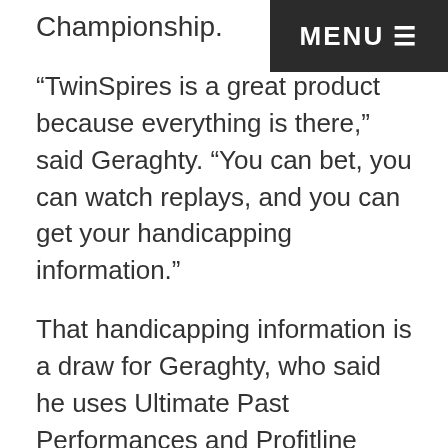MENU ☰
Championship.
“TwinSpires is a great product because everything is there,” said Geraghty. “You can bet, you can watch replays, and you can get your handicapping information.”
That handicapping information is a draw for Geraghty, who said he uses Ultimate Past Performances and Profitline products from Brisnet.com and available on TwinSpires.com to handicap.
“I thought the KDBC was a great idea,” Geraghty said. “It’s going to be pretty popular. A lot of guys I know and play with are trying to qualify, and after they saw I won I got about 50 e-mails and texts. I’ve never been to the Derby, so